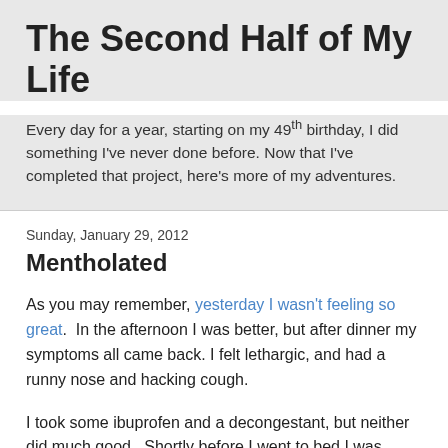The Second Half of My Life
Every day for a year, starting on my 49th birthday, I did something I've never done before. Now that I've completed that project, here's more of my adventures.
Sunday, January 29, 2012
Mentholated
As you may remember, yesterday I wasn't feeling so great.  In the afternoon I was better, but after dinner my symptoms all came back. I felt lethargic, and had a runny nose and hacking cough.
I took some ibuprofen and a decongestant, but neither did much good.  Shortly before I went to bed I was rummaging around in the linen closet looking for other remedies that